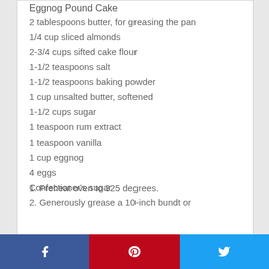Eggnog Pound Cake
2 tablespoons butter, for greasing the pan
1/4 cup sliced almonds
2-3/4 cups sifted cake flour
1-1/2 teaspoons salt
1-1/2 teaspoons baking powder
1 cup unsalted butter, softened
1-1/2 cups sugar
1 teaspoon rum extract
1 teaspoon vanilla
1 cup eggnog
4 eggs
Confectioner's sugar
1. Preheat oven to 325 degrees.
2. Generously grease a 10-inch bundt or
Facebook | Pinterest | Twitter